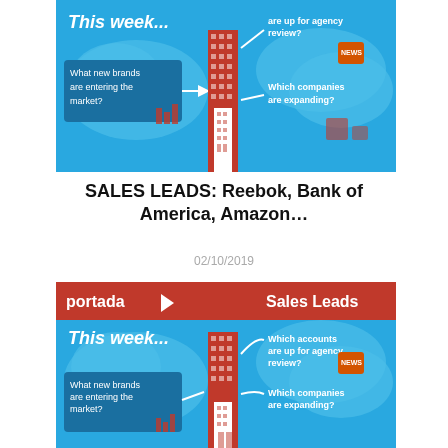[Figure (infographic): Portada Sales Leads infographic showing 'This week...' with questions: What new brands are entering the market? Which accounts are up for agency review? Which companies are expanding? Blue background with orange building and cloud graphics.]
SALES LEADS: Reebok, Bank of America, Amazon…
02/10/2019
[Figure (infographic): Portada Sales Leads infographic (second instance) showing 'This week...' with portada logo and Sales Leads label on orange header bar. Same questions about new brands, agency reviews, and expanding companies.]